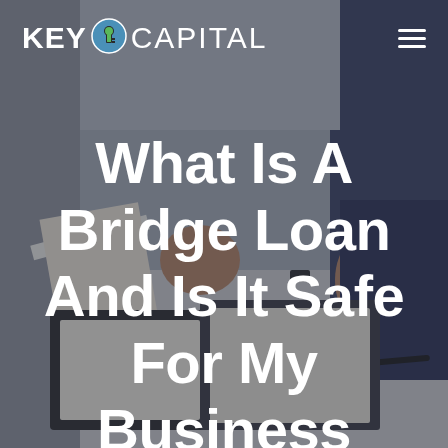[Figure (photo): Background photo of two people at a desk with documents, viewed from above. Dark overlay applied. Shows hands, papers, a clipboard, and a pen on a table surface.]
KEY CAPITAL
What Is A Bridge Loan And Is It Safe For My Business